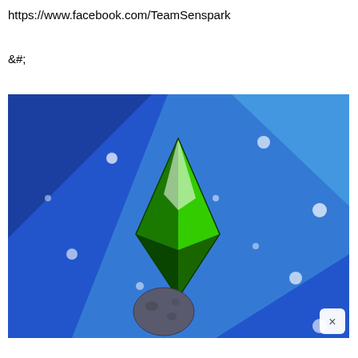https://www.facebook.com/TeamSenspark
&#;
[Figure (photo): A The Sims-style plumbob green diamond gem floating in a blue space-like background with white glowing dots and a small rocky planet/asteroid at the bottom. A cyan diagonal band crosses the background. A white close (x) button is in the bottom-right corner.]